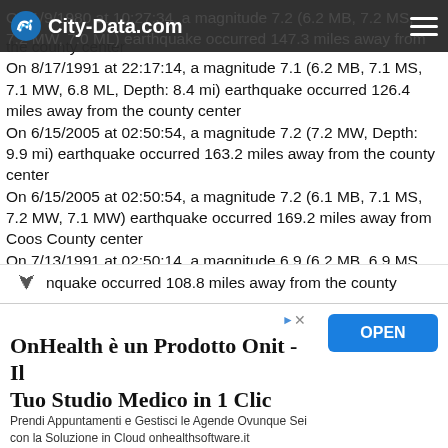City-Data.com
On 1/9/1980 at 10:27:34, a magnitude 7.2 (6.2 MB, 7.2 MS, 7.2 MW, 7.0 ML) earthquake occurred 147.3 miles away from the county center
On 8/17/1991 at 22:17:14, a magnitude 7.1 (6.2 MB, 7.1 MS, 7.1 MW, 6.8 ML, Depth: 8.4 mi) earthquake occurred 126.4 miles away from the county center
On 6/15/2005 at 02:50:54, a magnitude 7.2 (7.2 MW, Depth: 9.9 mi) earthquake occurred 163.2 miles away from the county center
On 6/15/2005 at 02:50:54, a magnitude 7.2 (6.1 MB, 7.1 MS, 7.2 MW, 7.1 MW) earthquake occurred 169.2 miles away from Coos County center
On 7/13/1991 at 02:50:14, a magnitude 6.9 (6.2 MB, 6.9 MS, 6.8 MW, 6.7 ML, Depth: 6.8 mi, Class: Strong, Intensity: VII - ...quake occurred 108.8 miles away from the county
[Figure (screenshot): Advertisement banner for OnHealth - Il Tuo Studio Medico in 1 Clic with OPEN button]